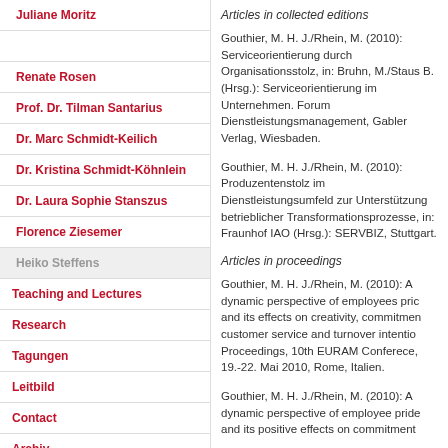Juliane Moritz
Dr. Miriam Rhein
Renate Rosen
Prof. Dr. Tilman Santarius
Dr. Marc Schmidt-Keilich
Dr. Kristina Schmidt-Köhnlein
Dr. Laura Sophie Stanszus
Florence Ziesemer
Heiko Steffens
Teaching and Lectures
Research
Tagungen
Leitbild
Contact
Archiv
Articles in collected editions
Gouthier, M. H. J./Rhein, M. (2010): Serviceorientierung durch Organisationsstolz, in: Bruhn, M./Staus B. (Hrsg.): Serviceorientierung im Unternehmen. Forum Dienstleistungsmanagement, Gabler Verlag, Wiesbaden.
Gouthier, M. H. J./Rhein, M. (2010): Produzentenstolz im Dienstleistungsumfeld zur Unterstützung betrieblicher Transformationsprozesse, in: Fraunhof IAO (Hrsg.): SERVBIZ, Stuttgart.
Articles in proceedings
Gouthier, M. H. J./Rhein, M. (2010): A dynamic perspective of employees pride and its effects on creativity, commitment, customer service and turnover intention. Proceedings, 10th EURAM Conference, 19.-22. Mai 2010, Rome, Italien.
Gouthier, M. H. J./Rhein, M. (2010): A dynamic perspective of employee pride and its positive effects on commitment